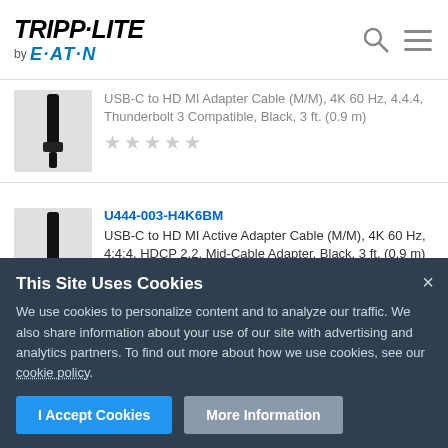TRIPP·LITE by EATON
USB-C to HDMI Adapter Cable (M/M), 4K 60 Hz, 4:4:4, Thunderbolt 3 Compatible, Black, 3 ft. (0.9 m)
★★★★★
U444-003-H4K6BM
USB-C to HDMI Active Adapter Cable (M/M), 4K 60 Hz, 4:4:4, HDCP 2.2, Mid-Cable Adapter, Black, 3 ft. (0.9 m)
★★★★★
This Site Uses Cookies
We use cookies to personalize content and to analyze our traffic. We also share information about your use of our site with advertising and analytics partners. To find out more about how we use cookies, see our cookie policy.
I Accept Cookies
More Information